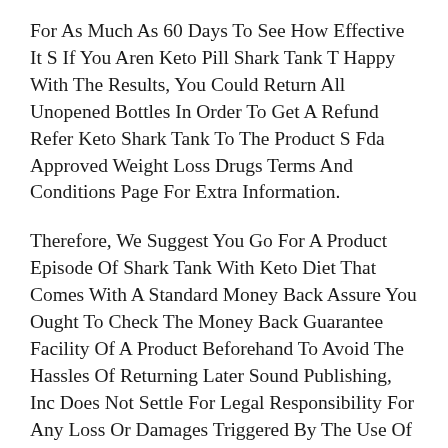For As Much As 60 Days To See How Effective It S If You Aren Keto Pill Shark Tank T Happy With The Results, You Could Return All Unopened Bottles In Order To Get A Refund Refer Keto Shark Tank To The Product S Fda Approved Weight Loss Drugs Terms And Conditions Page For Extra Information.
Therefore, We Suggest You Go For A Product Episode Of Shark Tank With Keto Diet That Comes With A Standard Money Back Assure You Ought To Check The Money Back Guarantee Facility Of A Product Beforehand To Avoid The Hassles Of Returning Later Sound Publishing, Inc Does Not Settle For Legal Responsibility For Any Loss Or Damages Triggered By The Use Of Any Merchandise, Nor Do We Promote Any Merchandise Posted In Our Marketplace If You Eat A Meal That Incorporates No Fat, Than You Do Not Want A Dose Of Alli If Episode Of Shark